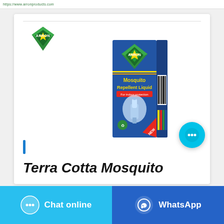https://www.arronproducts.com
[Figure (photo): Arron brand Mosquito Repellent Liquid product box — blue rectangular box with green diamond Arron logo, yellow text 'Mosquito Repellent Liquid', image of plug-in liquid device, red corner 'NEW' banner, barcode on side. Small Arron logo in top-left of page.]
Terra Cotta Mosquito
Chat online
WhatsApp